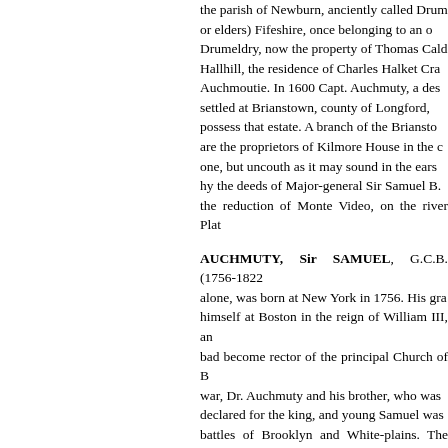the parish of Newburn, anciently called Drumeldry, or elders) Fifeshire, once belonging to an old family of Drumeldry, now the property of Thomas Cald... Hallhill, the residence of Charles Halket Cra... Auchmoutie. In 1600 Capt. Auchmuty, a des... settled at Brianstown, county of Longford, ... possess that estate. A branch of the Briansto... are the proprietors of Kilmore House in the c... one, but uncouth as it may sound in the ears ... hy the deeds of Major-general Sir Samuel B.... the reduction of Monte Video, on the river Plat...
AUCHMUTY, Sir SAMUEL, G.C.B. (1756-1822...) alone, was born at New York in 1756. His gra... himself at Boston in the reign of William III, an... bad become rector of the principal Church of B... war, Dr. Auchmuty and his brother, who was ... declared for the king, and young Samuel was... battles of Brooklyn and White-plains. The nee... young Auchmuty in 1777 an ensigncy, and in ... conclusion of peace he went to England with ... lieutenant's pay, or to expect any promotion... regiment, then under orders for India, and was... witb Hyder Ali, and was promoted captain in th... perceived his aptitude for Indian warfare, and ... served in the campaigns of 1790 and 1791 ag... of Seringapatam in 1792. Lord Cornwallis was... made him deputy-quartermaster-general to the... in 1794. Sir Robert Abercromby, the successor... useful, and made him lieutenant-colonel by br...